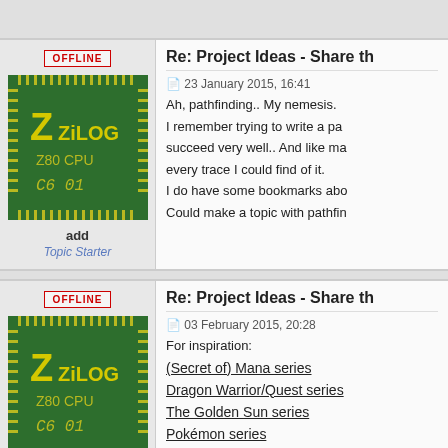OFFLINE
Re: Project Ideas - Share th
[Figure (illustration): ZiLOG Z80 CPU chip avatar image on green background]
add
Topic Starter
23 January 2015, 16:41
Ah, pathfinding.. My nemesis.
I remember trying to write a pa I succeed very well.. And like ma every trace I could find of it.
I do have some bookmarks abo Could make a topic with pathfin
OFFLINE
Re: Project Ideas - Share th
[Figure (illustration): ZiLOG Z80 CPU chip avatar image on green background]
add
Topic Starter
03 February 2015, 20:28
For inspiration:
(Secret of) Mana series
Dragon Warrior/Quest series
The Golden Sun series
Pokémon series
Lufia series
The Legend of Zelda series